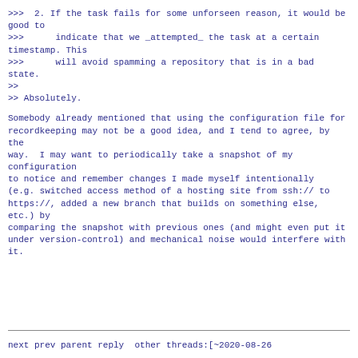>>>  2. If the task fails for some unforseen reason, it would be good to
>>>      indicate that we _attempted_ the task at a certain timestamp. This
>>>      will avoid spamming a repository that is in a bad state.
>>
>> Absolutely.
Somebody already mentioned that using the configuration file for
recordkeeping may not be a good idea, and I tend to agree, by the
way.  I may want to periodically take a snapshot of my configuration
to notice and remember changes I made myself intentionally
(e.g. switched access method of a hosting site from ssh:// to
https://, added a new branch that builds on something else, etc.) by
comparing the snapshot with previous ones (and might even put it
under version-control) and mechanical noise would interfere with it.
next prev parent reply  other threads:[~2020-08-26